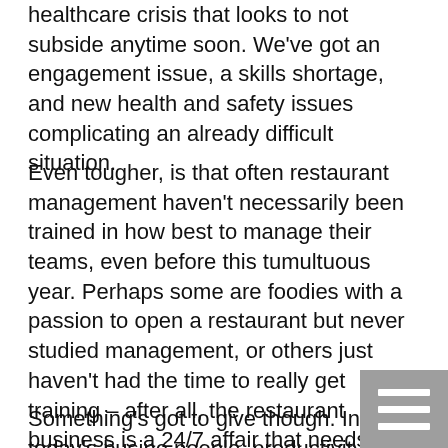healthcare crisis that looks to not subside anytime soon. We've got an engagement issue, a skills shortage, and new health and safety issues complicating an already difficult situation.
Even tougher, is that often restaurant management haven't necessarily been trained in how best to manage their teams, even before this tumultuous year. Perhaps some are foodies with a passion to open a restaurant but never studied management, or others just haven't had the time to really get training – after all, the restaurant business is a 24/7 affair that needs you to watch every nickel and dime. The focus is on keeping bums in seats or rather, take out flowing and doors open, conserving the cash you have rather than worrying about how your people feel about work.
Something's got to give though. In today's busine people, productivity, and profitability in that order. And